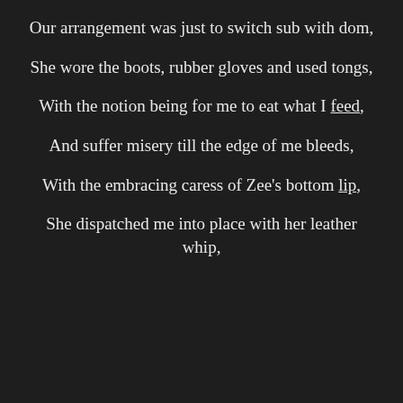Our arrangement was just to switch sub with dom,
She wore the boots, rubber gloves and used tongs,
With the notion being for me to eat what I feed,
And suffer misery till the edge of me bleeds,
With the embracing caress of Zee's bottom lip,
She dispatched me into place with her leather whip,